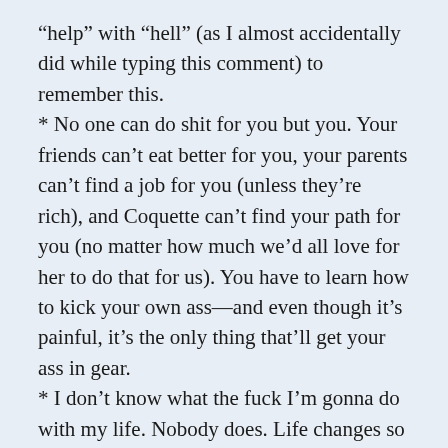“help” with “hell” (as I almost accidentally did while typing this comment) to remember this.
* No one can do shit for you but you. Your friends can’t eat better for you, your parents can’t find a job for you (unless they’re rich), and Coquette can’t find your path for you (no matter how much we’d all love for her to do that for us). You have to learn how to kick your own ass—and even though it’s painful, it’s the only thing that’ll get your ass in gear.
* I don’t know what the fuck I’m gonna do with my life. Nobody does. Life changes so much from